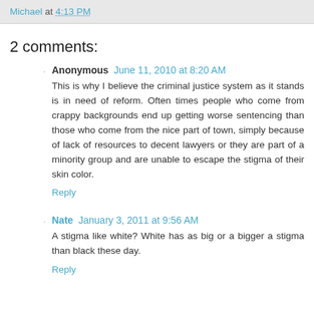Michael at 4:13 PM
2 comments:
Anonymous June 11, 2010 at 8:20 AM
This is why I believe the criminal justice system as it stands is in need of reform. Often times people who come from crappy backgrounds end up getting worse sentencing than those who come from the nice part of town, simply because of lack of resources to decent lawyers or they are part of a minority group and are unable to escape the stigma of their skin color.
Reply
Nate January 3, 2011 at 9:56 AM
A stigma like white? White has as big or a bigger a stigma than black these day.
Reply